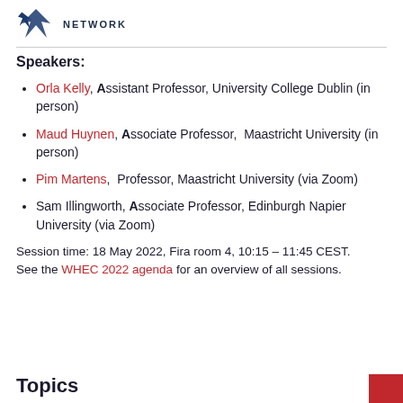NETWORK
Speakers:
Orla Kelly, Assistant Professor, University College Dublin (in person)
Maud Huynen, Associate Professor, Maastricht University (in person)
Pim Martens, Professor, Maastricht University (via Zoom)
Sam Illingworth, Associate Professor, Edinburgh Napier University (via Zoom)
Session time: 18 May 2022, Fira room 4, 10:15 – 11:45 CEST. See the WHEC 2022 agenda for an overview of all sessions.
Topics